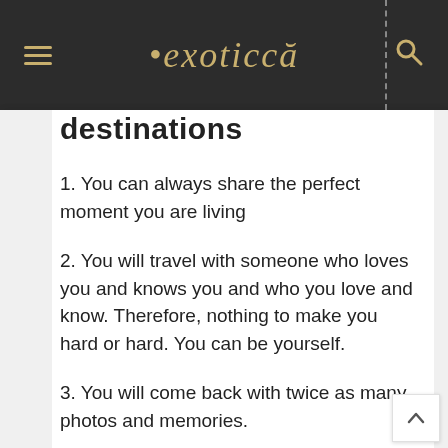exoticcă
destinations
1. You can always share the perfect moment you are living
2. You will travel with someone who loves you and knows you and who you love and know. Therefore, nothing to make you hard or hard. You can be yourself.
3. You will come back with twice as many photos and memories.
4. You will have more than one point of view about each place you visit